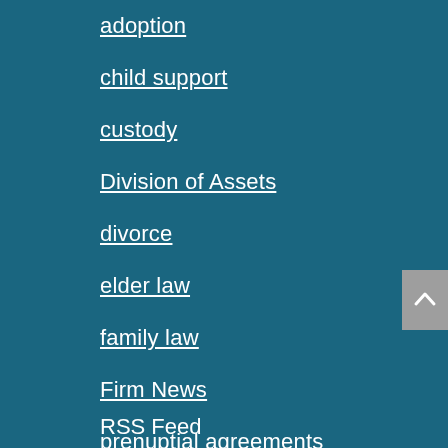adoption
child support
custody
Division of Assets
divorce
elder law
family law
Firm News
prenuptial agreements
same-sex marriage
severance
RSS Feed